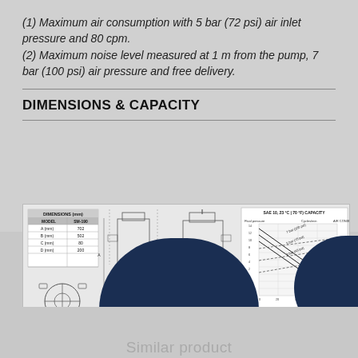(1) Maximum air consumption with 5 bar (72 psi) air inlet pressure and 80 cpm.
(2) Maximum noise level measured at 1 m from the pump, 7 bar (100 psi) air pressure and free delivery.
DIMENSIONS & CAPACITY
[Figure (engineering-diagram): Technical drawing showing dimensions table (MODEL SM-190, A=702mm, B=502mm, C=80mm, D=200mm), pump mechanical drawings (front and side views with dimension labels), and a capacity chart (SAE 10, 23°C / 70°F) showing fluid pressure vs cycles/min and air consumption curves with outlet pressure and air consumption legend.]